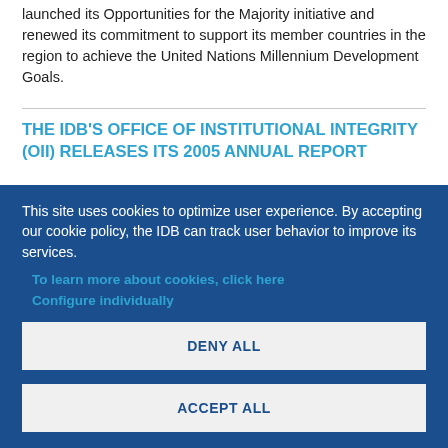launched its Opportunities for the Majority initiative and renewed its commitment to support its member countries in the region to achieve the United Nations Millennium Development Goals.
THE IDB'S OFFICE OF INSTITUTIONAL INTEGRITY (OII) RELEASES ITS 2005 ANNUAL REPORT
This site uses cookies to optimize user experience. By accepting our cookie policy, the IDB can track user behavior to improve its services.
To learn more about cookies, click here
Configure individually
DENY ALL
ACCEPT ALL